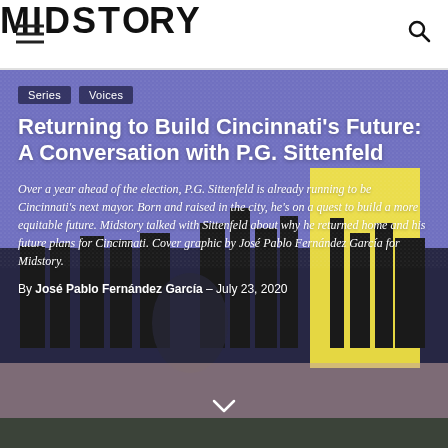MIDSTORY
[Figure (illustration): Hero image showing a man at a podium with a stylized cityscape illustration in purple/blue with yellow skyscraper shapes in the background]
Series
Voices
Returning to Build Cincinnati's Future: A Conversation with P.G. Sittenfeld
Over a year ahead of the election, P.G. Sittenfeld is already running to be Cincinnati's next mayor. Born and raised in the city, he's on a quest to build a more equitable future. Midstory talked with Sittenfeld about why he returned home and his future plans for Cincinnati. Cover graphic by José Pablo Fernández García for Midstory.
By José Pablo Fernández García – July 23, 2020